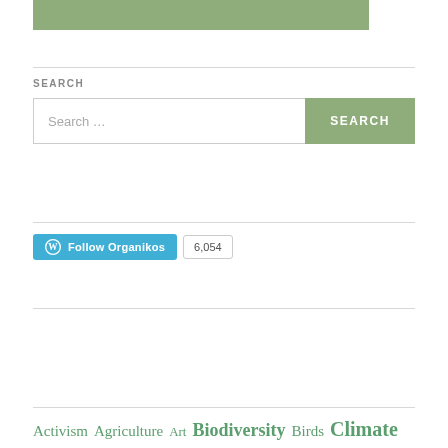[Figure (illustration): Green banner/image placeholder at the top of the sidebar]
SEARCH
[Figure (screenshot): Search input box with placeholder 'Search ...' and a green 'SEARCH' button]
[Figure (screenshot): WordPress Follow Organikos button with follower count of 6,054]
Activism Agriculture Art Biodiversity Birds Climate